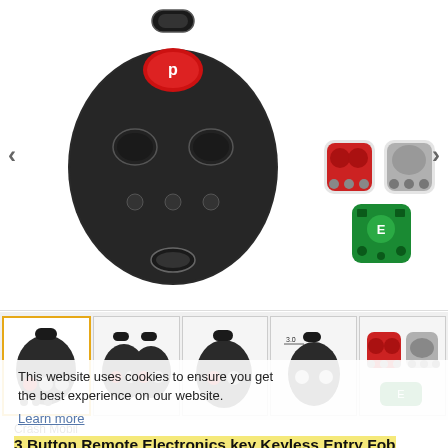[Figure (photo): Main product image of a black 3-button remote key fob for GM, shown front and back with internal components (red button pad, green PCB board) visible in smaller side images on the right.]
[Figure (photo): Thumbnail row with 5 product images: selected thumbnail showing key fob with components, second showing two key fobs, third showing single fob, fourth showing scale measurement, fifth showing internal components.]
This website uses cookies to ensure you get the best experience on our website.
Learn more
Crash Mobil
3 Button Remote Electronics key Keyless Entry Fob Control For GM 21997127 LHJ011
PRODUCT SKU: C122-1030790
AVAILABILITY: OUT OF STOCK